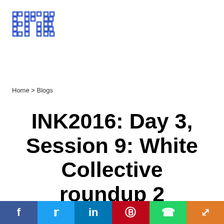[Figure (logo): INK logo in blue pixelated/grid style lettering]
Home > Blogs
INK2016: Day 3, Session 9: White Collective roundup 2
19 September 2016 | By INK Team
Pallavi Gupta
[Figure (other): Social share bar with Facebook, Twitter, LinkedIn, Pinterest, WhatsApp, and Share buttons]